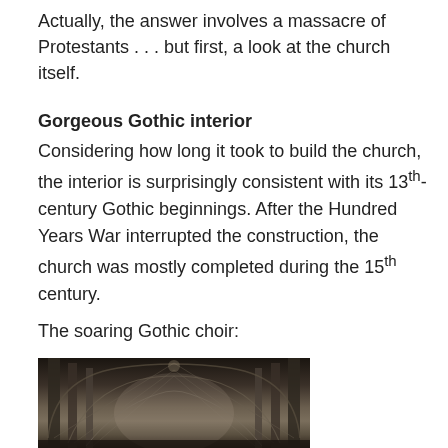Actually, the answer involves a massacre of Protestants . . . but first, a look at the church itself.
Gorgeous Gothic interior
Considering how long it took to build the church, the interior is surprisingly consistent with its 13th-century Gothic beginnings. After the Hundred Years War interrupted the construction, the church was mostly completed during the 15th century.
The soaring Gothic choir:
[Figure (photo): Interior photograph of a Gothic cathedral choir showing soaring pointed arches, ribbed vaulting, and tall stone columns receding into the distance]